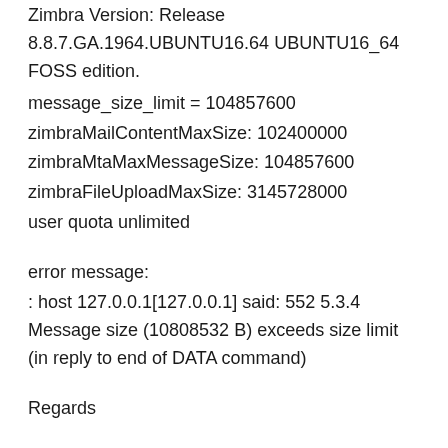Zimbra Version: Release 8.8.7.GA.1964.UBUNTU16.64 UBUNTU16_64 FOSS edition.
message_size_limit = 104857600
zimbraMailContentMaxSize: 102400000
zimbraMtaMaxMessageSize: 104857600
zimbraFileUploadMaxSize: 3145728000
user quota unlimited
error message:
: host 127.0.0.1[127.0.0.1] said: 552 5.3.4 Message size (10808532 B) exceeds size limit (in reply to end of DATA command)
Regards